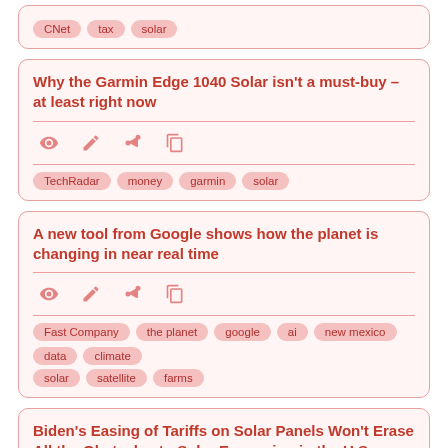Tags: CNet, tax, solar
Why the Garmin Edge 1040 Solar isn't a must-buy – at least right now
Tags: TechRadar, money, garmin, solar
A new tool from Google shows how the planet is changing in near real time
Tags: Fast Company, the planet, google, ai, new mexico, data, climate, solar, satellite, farms
Biden's Easing of Tariffs on Solar Panels Won't Erase All the Obstacles to Solar Expansion in the U.S.